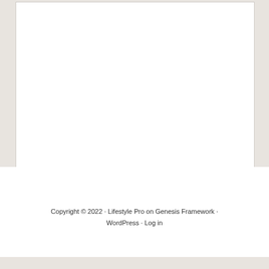Copyright © 2022 · Lifestyle Pro on Genesis Framework · WordPress · Log in